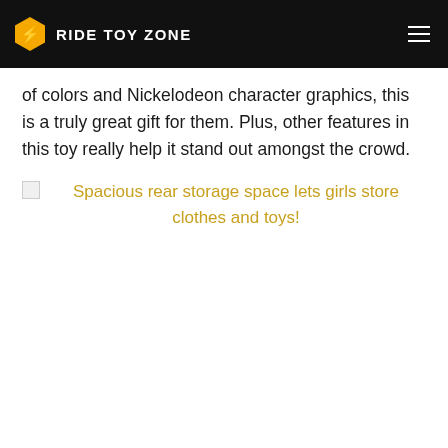RIDE TOY ZONE
of colors and Nickelodeon character graphics, this is a truly great gift for them. Plus, other features in this toy really help it stand out amongst the crowd.
Spacious rear storage space lets girls store clothes and toys!